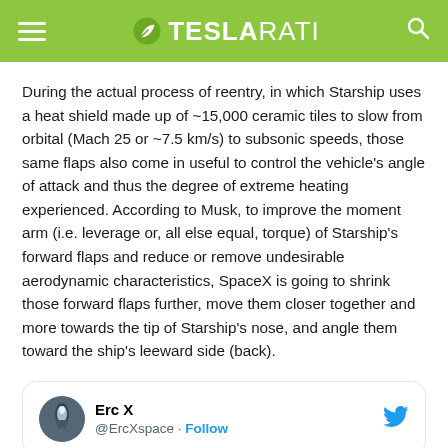TESLARATI
During the actual process of reentry, in which Starship uses a heat shield made up of ~15,000 ceramic tiles to slow from orbital (Mach 25 or ~7.5 km/s) to subsonic speeds, those same flaps also come in useful to control the vehicle's angle of attack and thus the degree of extreme heating experienced. According to Musk, to improve the moment arm (i.e. leverage or, all else equal, torque) of Starship's forward flaps and reduce or remove undesirable aerodynamic characteristics, SpaceX is going to shrink those forward flaps further, move them closer together and more towards the tip of Starship's nose, and angle them toward the ship's leeward side (back).
[Figure (screenshot): Embedded tweet from Erc X (@ErcXspace) with Follow button and Twitter bird icon. Profile picture shows a rocket/spacecraft image.]